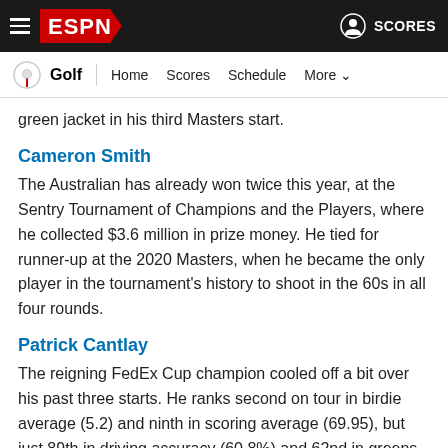ESPN Golf — Home | Scores | Schedule | More
green jacket in his third Masters start.
Cameron Smith
The Australian has already won twice this year, at the Sentry Tournament of Champions and the Players, where he collected $3.6 million in prize money. He tied for runner-up at the 2020 Masters, when he became the only player in the tournament's history to shoot in the 60s in all four rounds.
Patrick Cantlay
The reigning FedEx Cup champion cooled off a bit over his past three starts. He ranks second on tour in birdie average (5.2) and ninth in scoring average (69.95), but just 89th in driving accuracy (60.8%) and 62nd in greens in regulation